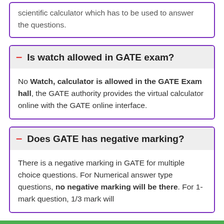scientific calculator which has to be used to answer the questions.
Is watch allowed in GATE exam?
No Watch, calculator is allowed in the GATE Exam hall, the GATE authority provides the virtual calculator online with the GATE online interface.
Does GATE has negative marking?
There is a negative marking in GATE for multiple choice questions. For Numerical answer type questions, no negative marking will be there. For 1-mark question, 1/3 mark will